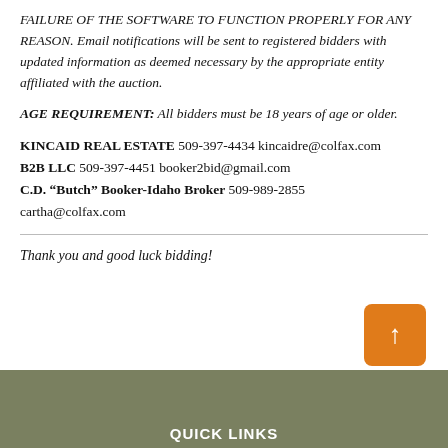FAILURE OF THE SOFTWARE TO FUNCTION PROPERLY FOR ANY REASON. Email notifications will be sent to registered bidders with updated information as deemed necessary by the appropriate entity affiliated with the auction.
AGE REQUIREMENT: All bidders must be 18 years of age or older.
KINCAID REAL ESTATE 509-397-4434 kincaidre@colfax.com
B2B LLC 509-397-4451 booker2bid@gmail.com
C.D. “Butch” Booker-Idaho Broker 509-989-2855
cartha@colfax.com
Thank you and good luck bidding!
[Figure (other): Orange button with upward arrow for scrolling to top of page]
QUICK LINKS